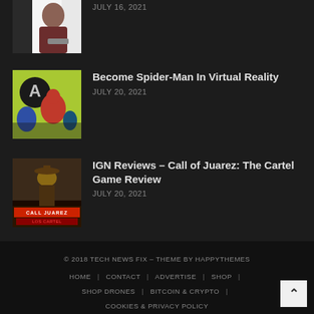[Figure (photo): Partial thumbnail of a person at a computer, cropped at top]
JULY 16, 2021
[Figure (photo): Thumbnail showing Spider-Man and Avengers characters in a VR gaming scene]
Become Spider-Man In Virtual Reality
JULY 20, 2021
[Figure (photo): Call of Juarez: The Cartel game cover art thumbnail]
IGN Reviews – Call of Juarez: The Cartel Game Review
JULY 20, 2021
© 2018 TECH NEWS FIX – THEME BY HAPPYTHEMES
HOME | CONTACT | ADVERTISE | SHOP |
SHOP DRONES | BITCOIN & CRYPTO |
COOKIES & PRIVACY POLICY